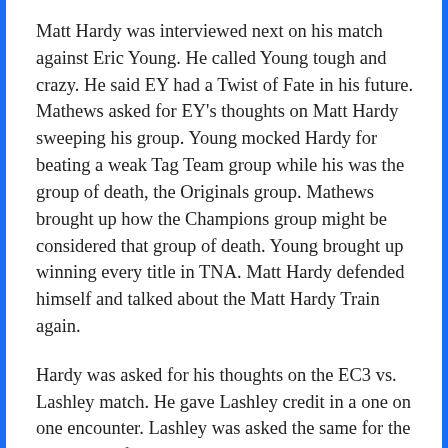Matt Hardy was interviewed next on his match against Eric Young. He called Young tough and crazy. He said EY had a Twist of Fate in his future. Mathews asked for EY's thoughts on Matt Hardy sweeping his group. Young mocked Hardy for beating a weak Tag Team group while his was the group of death, the Originals group. Mathews brought up how the Champions group might be considered that group of death. Young brought up winning every title in TNA. Matt Hardy defended himself and talked about the Matt Hardy Train again.
Hardy was asked for his thoughts on the EC3 vs. Lashley match. He gave Lashley credit in a one on one encounter. Lashley was asked the same for the other side of the bracket. Lashley liked